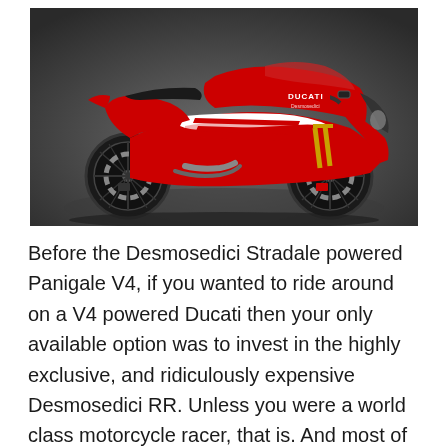[Figure (photo): A red and white Ducati Desmosedici RR motorcycle shown in profile view against a dark gray background. The bike features prominent red fairings with white panels and red racing stripes, black wheels, gold front forks, and the Ducati logo visible on the fairing.]
Before the Desmosedici Stradale powered Panigale V4, if you wanted to ride around on a V4 powered Ducati then your only available option was to invest in the highly exclusive, and ridiculously expensive Desmosedici RR. Unless you were a world class motorcycle racer, that is. And most of